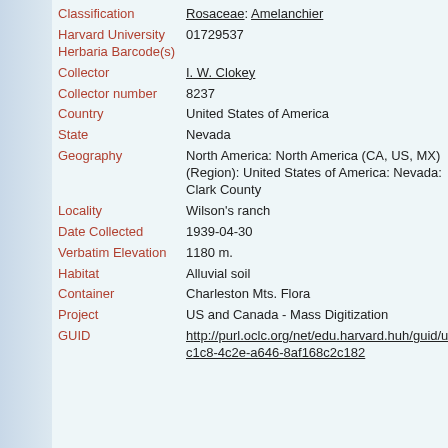| Field | Value |
| --- | --- |
| Classification | Rosaceae: Amelanchier |
| Harvard University Herbaria Barcode(s) | 01729537 |
| Collector | I. W. Clokey |
| Collector number | 8237 |
| Country | United States of America |
| State | Nevada |
| Geography | North America: North America (CA, US, MX) (Region): United States of America: Nevada: Clark County |
| Locality | Wilson's ranch |
| Date Collected | 1939-04-30 |
| Verbatim Elevation | 1180 m. |
| Habitat | Alluvial soil |
| Container | Charleston Mts. Flora |
| Project | US and Canada - Mass Digitization |
| GUID | http://purl.oclc.org/net/edu.harvard.huh/guid/uuid/69e-c1c8-4c2e-a646-8af168c2c182 |